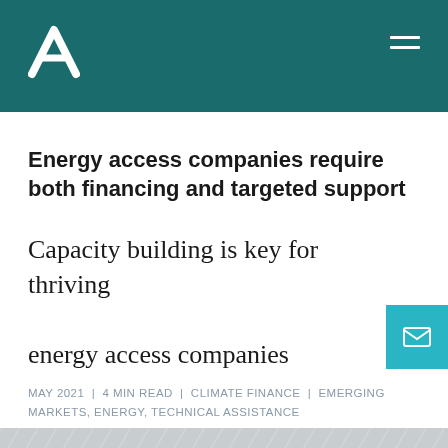Ardea Investment Management logo and navigation
Energy access companies require both financing and targeted support
Capacity building is key for thriving energy access companies
MAY 2021 | 4 MIN READ | CLIMATE FINANCE | EMERGING MARKETS, ENERGY, TECHNICAL ASSISTANCE
[Figure (photo): Faded grey photograph strip at bottom of page]